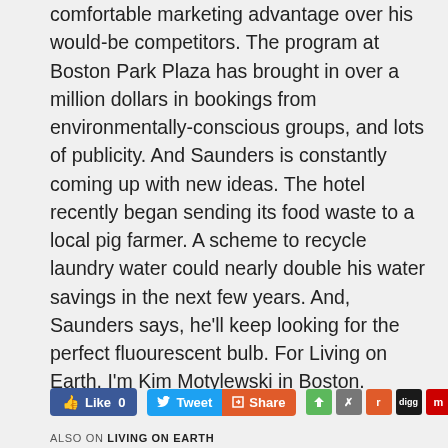comfortable marketing advantage over his would-be competitors. The program at Boston Park Plaza has brought in over a million dollars in bookings from environmentally-conscious groups, and lots of publicity. And Saunders is constantly coming up with new ideas. The hotel recently began sending its food waste to a local pig farmer. A scheme to recycle laundry water could nearly double his water savings in the next few years. And, Saunders says, he'll keep looking for the perfect fluourescent bulb. For Living on Earth, I'm Kim Motylewski in Boston.
[Figure (infographic): Social sharing bar with Facebook Like (0), Tweet button, Share button, and social icons for various platforms]
ALSO ON LIVING ON EARTH